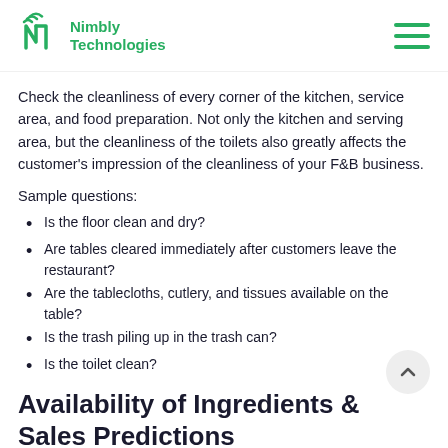Nimbly Technologies
Check the cleanliness of every corner of the kitchen, service area, and food preparation. Not only the kitchen and serving area, but the cleanliness of the toilets also greatly affects the customer's impression of the cleanliness of your F&B business.
Sample questions:
Is the floor clean and dry?
Are tables cleared immediately after customers leave the restaurant?
Are the tablecloths, cutlery, and tissues available on the table?
Is the trash piling up in the trash can?
Is the toilet clean?
Availability of Ingredients & Sales Predictions
Poor inventory management will cause serious consequences